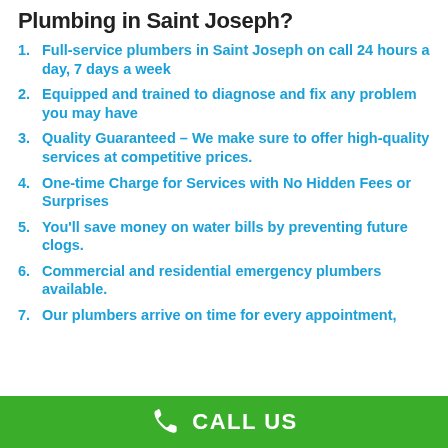Plumbing in Saint Joseph?
Full-service plumbers in Saint Joseph on call 24 hours a day, 7 days a week
Equipped and trained to diagnose and fix any problem you may have
Quality Guaranteed – We make sure to offer high-quality services at competitive prices.
One-time Charge for Services with No Hidden Fees or Surprises
You'll save money on water bills by preventing future clogs.
Commercial and residential emergency plumbers available.
Our plumbers arrive on time for every appointment,
CALL US